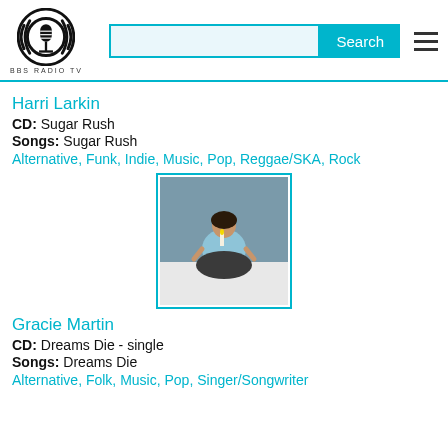BBS RADIO TV — Search bar — Hamburger menu
Harri Larkin
CD: Sugar Rush
Songs: Sugar Rush
Alternative, Funk, Indie, Music, Pop, Reggae/SKA, Rock
[Figure (photo): Album cover photo of Gracie Martin sitting cross-legged on a white bed against a blue-grey wall, wearing a light blue top]
Gracie Martin
CD: Dreams Die - single
Songs: Dreams Die
Alternative, Folk, Music, Pop, Singer/Songwriter